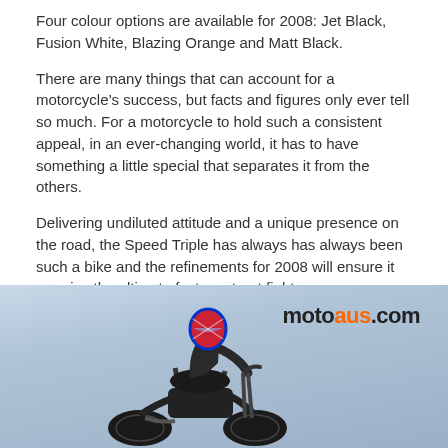Four colour options are available for 2008: Jet Black, Fusion White, Blazing Orange and Matt Black.
There are many things that can account for a motorcycle’s success, but facts and figures only ever tell so much. For a motorcycle to hold such a consistent appeal, in an ever-changing world, it has to have something a little special that separates it from the others.
Delivering undiluted attitude and a unique presence on the road, the Speed Triple has always has always been such a bike and the refinements for 2008 will ensure it remains the ultimate factory street fighter.
The 2008 Speed Triple will go on sale in Australia in late March, at the same price as the 2007 model – $15,990 (plus ORC).
[Figure (photo): Motorcycle rider on a Speed Triple motorcycle, with motoaus.com watermark logo overlaid on a light blue sky background.]